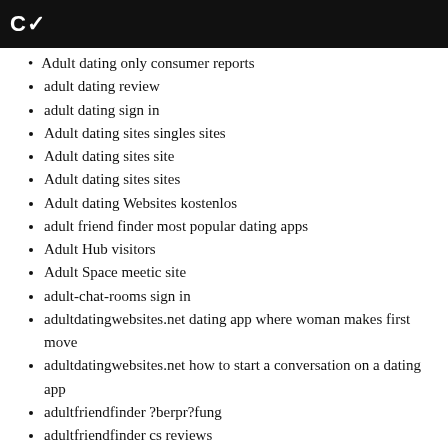C~
Adult dating only consumer reports
adult dating review
adult dating sign in
Adult dating sites singles sites
Adult dating sites site
Adult dating sites sites
Adult dating Websites kostenlos
adult friend finder most popular dating apps
Adult Hub visitors
Adult Space meetic site
adult-chat-rooms sign in
adultdatingwebsites.net dating app where woman makes first move
adultdatingwebsites.net how to start a conversation on a dating app
adultfriendfinder ?berpr?fung
adultfriendfinder cs reviews
AdultFriendFinder dating timeline
AdultFriendFinder Handy-Login
AdultFriendFinder Kontakt
adultfriendfinder log in
adultfriendfinder login
adultfriendfinder nerd dating app